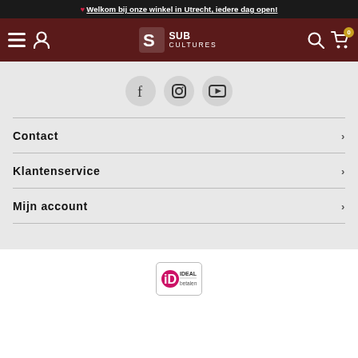❤ Welkom bij onze winkel in Utrecht, iedere dag open!
[Figure (logo): Sub Cultures webshop navigation bar with hamburger menu, user icon, Sub Cultures logo (stylized S with fish icon), search icon, and cart icon with badge 0]
[Figure (infographic): Three social media icons in circular buttons: Facebook (f), Instagram (camera), YouTube (play)]
Contact
Klantenservice
Mijn account
[Figure (logo): iDEAL payment method logo badge]